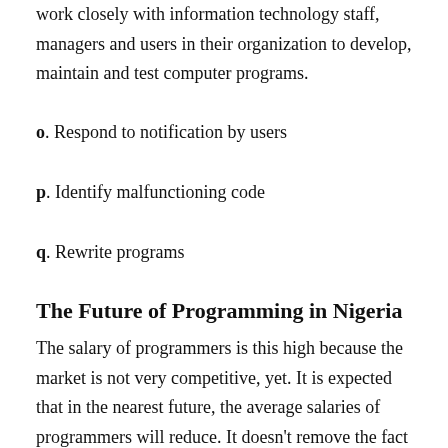work closely with information technology staff, managers and users in their organization to develop, maintain and test computer programs.
o. Respond to notification by users
p. Identify malfunctioning code
q. Rewrite programs
The Future of Programming in Nigeria
The salary of programmers is this high because the market is not very competitive, yet. It is expected that in the nearest future, the average salaries of programmers will reduce. It doesn't remove the fact that a significant proportion of programmers will not still be paid well.
Take for example, the legal profession in Nigeria is highly